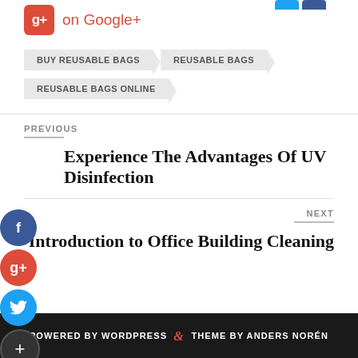[Figure (logo): Google+ share button with red G+ icon and 'on Google+' text in red]
BUY REUSABLE BAGS
REUSABLE BAGS
REUSABLE BAGS ONLINE
PREVIOUS
Experience The Advantages Of UV Disinfection
NEXT
Introduction to Office Building Cleaning
POWERED BY WORDPRESS & THEME BY ANDERS NORÉN